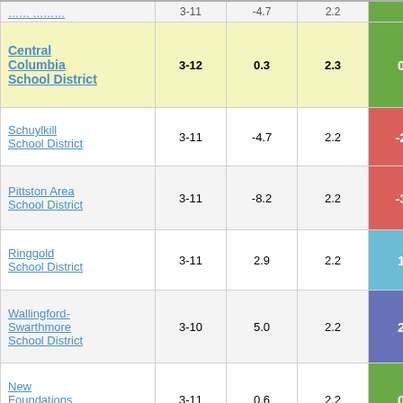| School/District | Grades | Change | Avg Change | Score |
| --- | --- | --- | --- | --- |
| Central Columbia School District | 3-12 | 0.3 | 2.3 | 0.12 |
| Schuylkill School District | 3-11 | -4.7 | 2.2 | -2.18 |
| Pittston Area School District | 3-11 | -8.2 | 2.2 | -3.75 |
| Ringgold School District | 3-11 | 2.9 | 2.2 | 1.32 |
| Wallingford-Swarthmore School District | 3-10 | 5.0 | 2.2 | 2.25 |
| New Foundations Charter School | 3-11 | 0.6 | 2.2 | 0.29 |
| Crestwood School District | 3-11 | -3.4 | 2.2 | -1.52 |
| Fort Leboeuf School District | 3-11 | 3.5 | 2.2 | 1.58 |